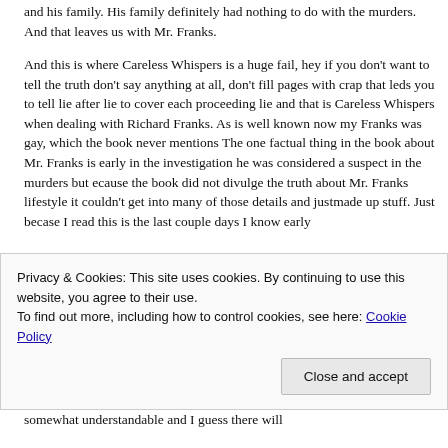and his family. His family definitely had nothing to do with the murders. And that leaves us with Mr. Franks.
And this is where Careless Whispers is a huge fail, hey if you don't want to tell the truth don't say anything at all, don't fill pages with crap that leds you to tell lie after lie to cover each proceeding lie and that is Careless Whispers when dealing with Richard Franks. As is well known now my Franks was gay, which the book never mentions The one factual thing in the book about Mr. Franks is early in the investigation he was considered a suspect in the murders but ecause the book did not divulge the truth about Mr. Franks lifestyle it couldn't get into many of those details and justmade up stuff. Just becase I read this is the last couple days I know early
Privacy & Cookies: This site uses cookies. By continuing to use this website, you agree to their use.
To find out more, including how to control cookies, see here: Cookie Policy
Close and accept
somewhat understandable and I guess there will